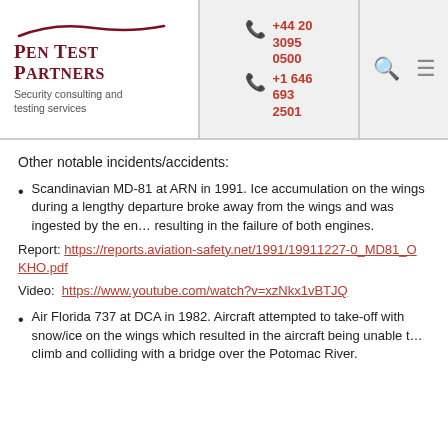PEN TEST PARTNERS Security consulting and testing services | +44 20 3095 0500 | +1 646 693 2501
Other notable incidents/accidents:
Scandinavian MD-81 at ARN in 1991. Ice accumulation on the wings during a lengthy departure broke away from the wings and was ingested by the engines, resulting in the failure of both engines.
Report: https://reports.aviation-safety.net/1991/19911227-0_MD81_O-KHO.pdf
Video: https://www.youtube.com/watch?v=xzNkx1vBTJQ
Air Florida 737 at DCA in 1982. Aircraft attempted to take-off with snow/ice on the wings which resulted in the aircraft being unable to climb and colliding with a bridge over the Potomac River.